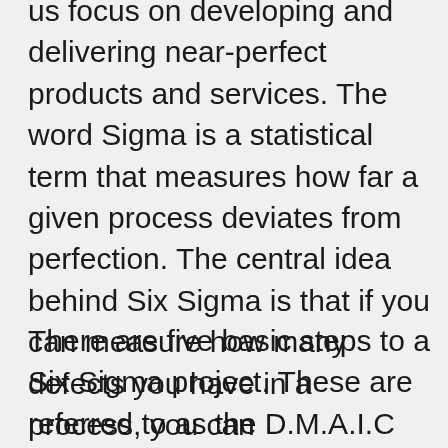us focus on developing and delivering near-perfect products and services. The word Sigma is a statistical term that measures how far a given process deviates from perfection. The central idea behind Six Sigma is that if you can measure how many defects you have in a process, you can systematically figure out how to eliminate them and get as close to “zero defects” as possible.
There are five basic steps to a Six Sigma project. These are referred to as the D.M.A.I.C method. That stands